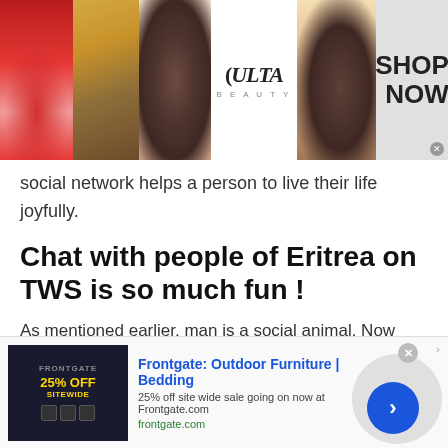[Figure (photo): ULTA Beauty advertisement banner at top with makeup photos (lips, brush, eye), ULTA logo in center, eye photo, and 'SHOP NOW' text on right with close button]
social network helps a person to live their life joyfully.
Chat with people of Eritrea on TWS is so much fun !
As mentioned earlier, man is a social animal. Now since man is so socially linked and glued to this digital world, why would an individual need to interact with a stranger? The reason is quite simple.
[Figure (photo): Frontgate: Outdoor Furniture | Bedding advertisement banner at bottom with '25% OFF SITEWIDE' promo image, ad text, frontgate.com URL, and a circular arrow button]